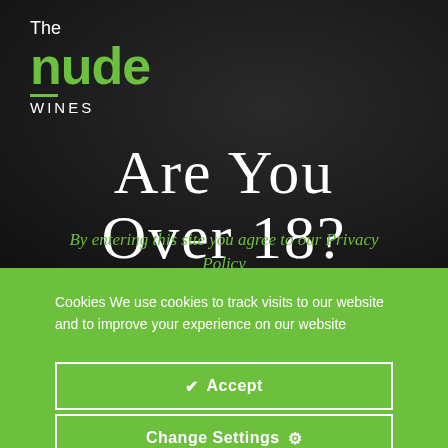[Figure (logo): The Nude Wines logo — 'The' in white, 'nude' in green bold, 'WINES' in white uppercase on dark background]
Are You Over 18?
By entering this site you agree to our Privacy Policy
Cookies We use cookies to track visits to our website and to improve your experience on our website
✔ Accept
Change Settings ⚙